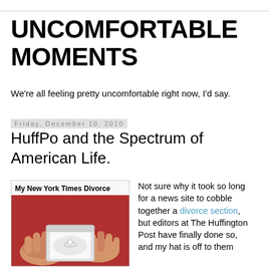UNCOMFORTABLE MOMENTS
We're all feeling pretty uncomfortable right now, I'd say.
Friday, December 10, 2010
HuffPo and the Spectrum of American Life.
[Figure (photo): Box titled 'My New York Times Divorce' with a photo of hands holding a ring box with a diamond ring, against a red background.]
Not sure why it took so long for a news site to cobble together a divorce section, but editors at The Huffington Post have finally done so, and my hat is off to them